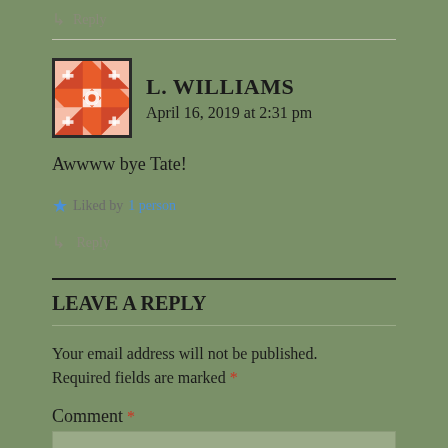↳ Reply
L. WILLIAMS
April 16, 2019 at 2:31 pm
Awwww bye Tate!
Liked by 1 person
↳ Reply
LEAVE A REPLY
Your email address will not be published. Required fields are marked *
Comment *